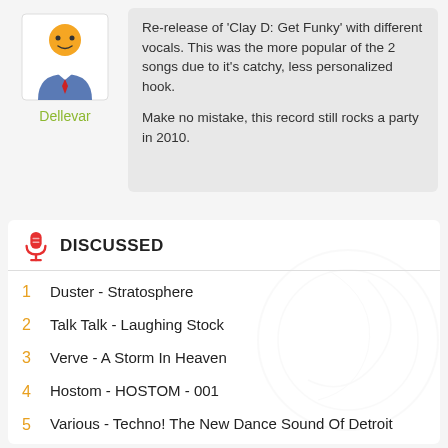[Figure (illustration): Generic user avatar icon showing a person in a suit with red tie, yellow/orange face, on white background]
Dellevar
Re-release of 'Clay D: Get Funky' with different vocals. This was the more popular of the 2 songs due to it's catchy, less personalized hook.

Make no mistake, this record still rocks a party in 2010.
DISCUSSED
1  Duster - Stratosphere
2  Talk Talk - Laughing Stock
3  Verve - A Storm In Heaven
4  Hostom - HOSTOM - 001
5  Various - Techno! The New Dance Sound Of Detroit
6  Nirvana - MTV Unplugged In New York
7  Mazzy Star - Seasons Of Your Day
8  Various - Chicago Service